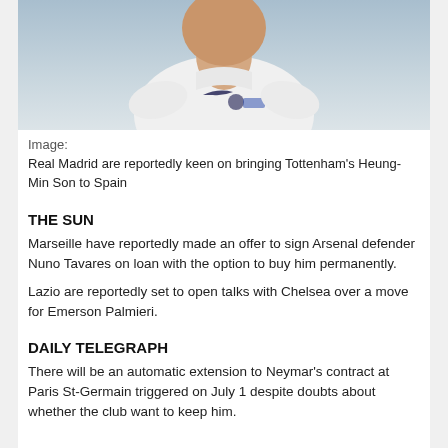[Figure (photo): Cropped photo of a footballer wearing a white Tottenham Hotspur jersey with Nike logo and Tottenham crest visible]
Image:
Real Madrid are reportedly keen on bringing Tottenham's Heung-Min Son to Spain
THE SUN
Marseille have reportedly made an offer to sign Arsenal defender Nuno Tavares on loan with the option to buy him permanently.
Lazio are reportedly set to open talks with Chelsea over a move for Emerson Palmieri.
DAILY TELEGRAPH
There will be an automatic extension to Neymar's contract at Paris St-Germain triggered on July 1 despite doubts about whether the club want to keep him.